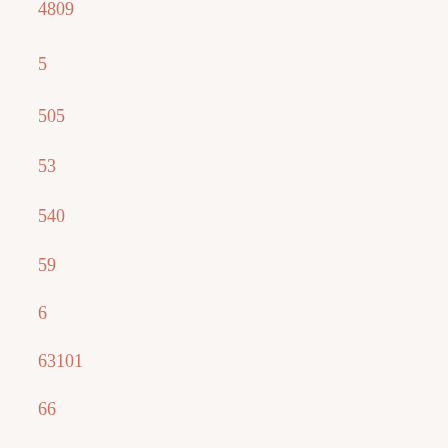4809
5
505
53
540
59
6
63101
66
7
7151
726
748
775
8